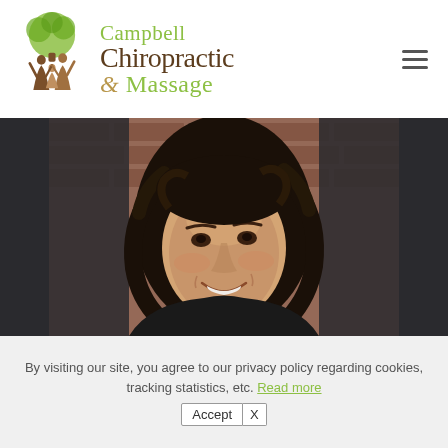[Figure (logo): Campbell Chiropractic & Massage logo with green tree and people icon, text showing business name]
[Figure (photo): Portrait of a young woman with curly dark hair smiling, in front of a brick wall background]
By visiting our site, you agree to our privacy policy regarding cookies, tracking statistics, etc. Read more
Accept X